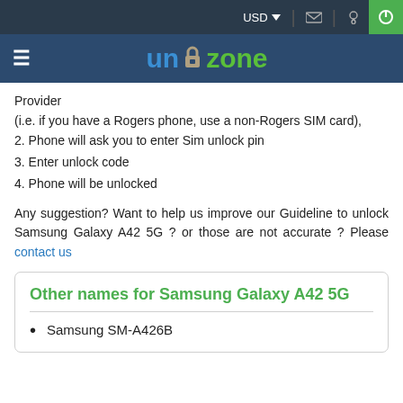USD (dropdown) | mail icon | location icon | power button
[Figure (logo): Un-lock zone logo with padlock icon between 'un' in blue and 'zone' in green, on dark blue background with hamburger menu]
Provider
(i.e. if you have a Rogers phone, use a non-Rogers SIM card),
2. Phone will ask you to enter Sim unlock pin
3. Enter unlock code
4. Phone will be unlocked
Any suggestion? Want to help us improve our Guideline to unlock Samsung Galaxy A42 5G ? or those are not accurate ? Please contact us
Other names for Samsung Galaxy A42 5G
Samsung SM-A426B